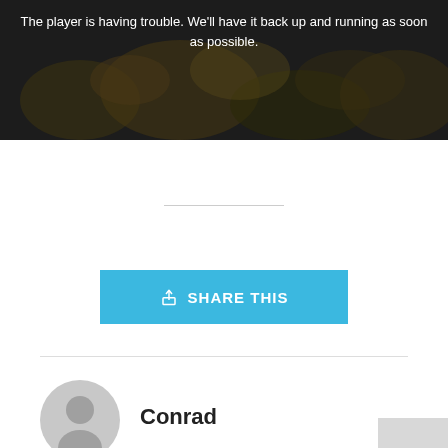[Figure (screenshot): Video player error screen with dark background showing crowd/event photo and white error text: 'The player is having trouble. We'll have it back up and running as soon as possible.']
The player is having trouble. We'll have it back up and running as soon as possible.
[Figure (other): Share This button — light blue rectangular button with upload/share icon and text 'SHARE THIS']
Conrad
[Figure (photo): Default user avatar — circular gray silhouette icon for user 'Conrad']